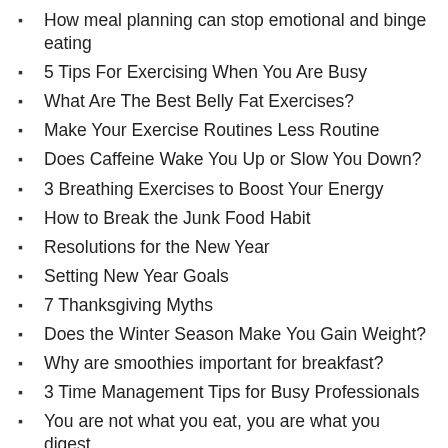How meal planning can stop emotional and binge eating
5 Tips For Exercising When You Are Busy
What Are The Best Belly Fat Exercises?
Make Your Exercise Routines Less Routine
Does Caffeine Wake You Up or Slow You Down?
3 Breathing Exercises to Boost Your Energy
How to Break the Junk Food Habit
Resolutions for the New Year
Setting New Year Goals
7 Thanksgiving Myths
Does the Winter Season Make You Gain Weight?
Why are smoothies important for breakfast?
3 Time Management Tips for Busy Professionals
You are not what you eat, you are what you digest
How does food affect your mood?
How to avoid a fast food joint when on the go and hungry
Your life is essentially the sum of your habits